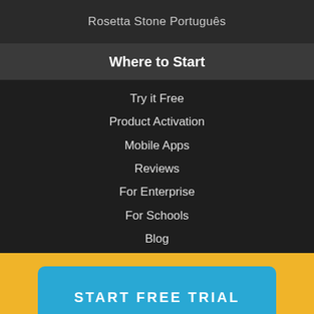Rosetta Stone Português
Where to Start
Try it Free
Product Activation
Mobile Apps
Reviews
For Enterprise
For Schools
Blog
START FREE TRIAL